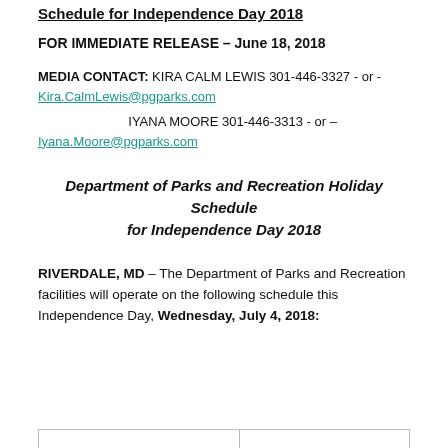Schedule for Independence Day 2018
FOR IMMEDIATE RELEASE – June 18, 2018
MEDIA CONTACT: KIRA CALM LEWIS 301-446-3327 - or - Kira.CalmLewis@pgparks.com
IYANA MOORE 301-446-3313 - or – Iyana.Moore@pgparks.com
Department of Parks and Recreation Holiday Schedule for Independence Day 2018
RIVERDALE, MD – The Department of Parks and Recreation facilities will operate on the following schedule this Independence Day, Wednesday, July 4, 2018: